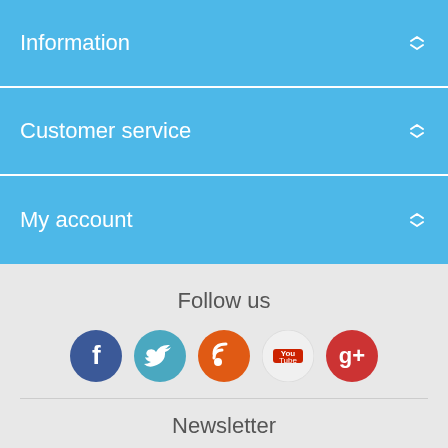Information
Customer service
My account
Follow us
[Figure (infographic): Five social media icon circles: Facebook (dark blue), Twitter (light blue), RSS (orange), YouTube (white with red/black logo), Google+ (red)]
Newsletter
Enter your email here... SUBSCRIBE